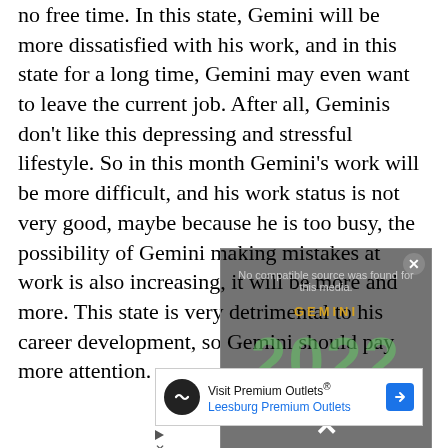no free time. In this state, Gemini will be more dissatisfied with his work, and in this state for a long time, Gemini may even want to leave the current job. After all, Geminis don’t like this depressing and stressful lifestyle. So in this month Gemini’s work will be more difficult, and his work status is not very good, maybe because he is too busy, the possibility of Gemini making mistakes at work is also increasing, it will be more and more. This state is very detrimental to his career development, so Gemini should pay more attention.
[Figure (screenshot): Video player overlay showing 'No compatible source was found for this media.' message with 'GEMINI 2022' text in background and a close button.]
[Figure (screenshot): Advertisement for 'Visit Premium Outlets® Leesburg Premium Outlets' with logo, text, and navigation arrow.]